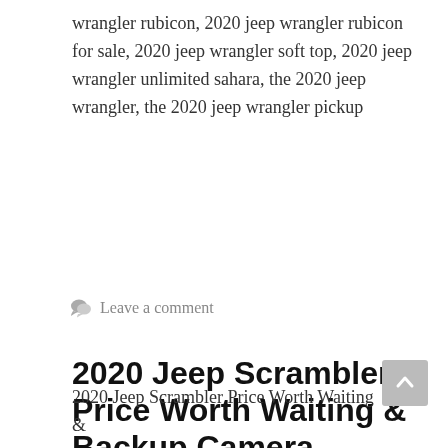wrangler rubicon, 2020 jeep wrangler rubicon for sale, 2020 jeep wrangler soft top, 2020 jeep wrangler unlimited sahara, the 2020 jeep wrangler, the 2020 jeep wrangler pickup
Leave a comment
2020 Jeep Scrambler Price Worth Waiting & Backup Camera
July 16, 2020 by Joseph G. Hermann
2020 Jeep Scrambler Price Worth Waiting &